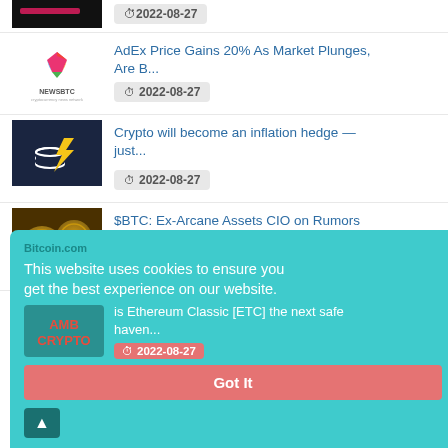[Figure (screenshot): Partial news item image at top (dark background with pink/red text partially visible)]
2022-08-27
[Figure (logo): NewsBTC colorful logo]
AdEx Price Gains 20% As Market Plunges, Are B...
2022-08-27
[Figure (logo): Crypto lightning bolt logo on dark background]
Crypto will become an inflation hedge — just...
2022-08-27
[Figure (photo): Bitcoin coins photo]
$BTC: Ex-Arcane Assets CIO on Rumors About Mt...
2022-08-27
Crypto Economy Slides Under $1 Trillion, as B...
2022-08-27
is Ethereum Classic [ETC] the next safe haven...
2022-08-27
This website uses cookies to ensure you get the best experience on our website.
Got It